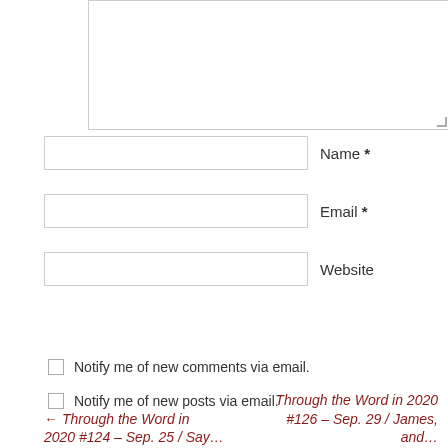[Figure (screenshot): Comment form textarea (large empty input box)]
Name *
Email *
Website
Post Comment
Notify me of new comments via email.
Notify me of new posts via email.
← Through the Word in 2020 #124 – Sep. 25 / Say…
Through the Word in 2020 #126 – Sep. 29 / James, and…